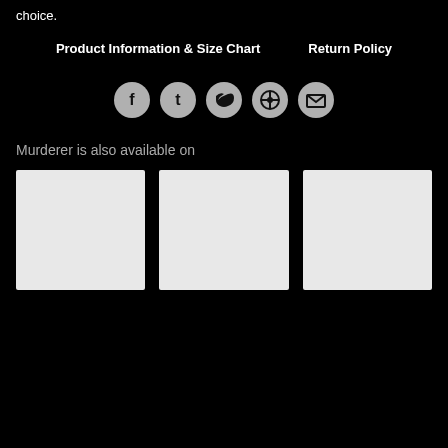choice.
Product Information & Size Chart   Return Policy
[Figure (infographic): Row of 5 social sharing icons in gray circles: Facebook (f), Tumblr (t), Twitter bird, Pinterest (target), Email (envelope)]
Murderer is also available on
[Figure (photo): Three white/light gray product image placeholder boxes side by side]
[Figure (photo): Center product image placeholder]
[Figure (photo): Right product image placeholder]